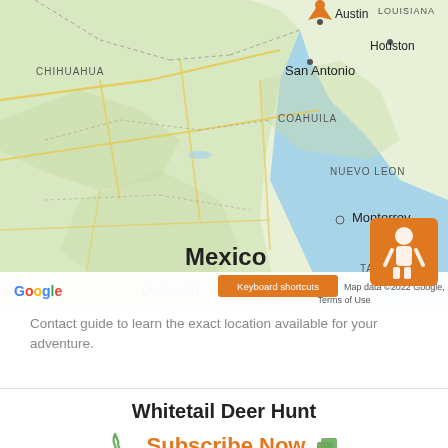[Figure (map): Google Maps view showing northern Mexico, Texas border region including Chihuahua, Coahuila, Nuevo Leon, Tamaulipas, Durango, Sinaloa, Nayari, San Luis; cities Austin, Houston, San Antonio, Monterrey visible; orange drop pin near Austin area; orange Street View pegman icon in lower right corner; Gulf of Mexico visible to the right; Google logo and attribution bar at bottom showing 'Keyboard shortcuts', 'Map data ©2022 Google, INEGI', 'Terms of Use']
Contact guide to learn the exact location available for your adventure.
Whitetail Deer Hunt
Subscribe Now